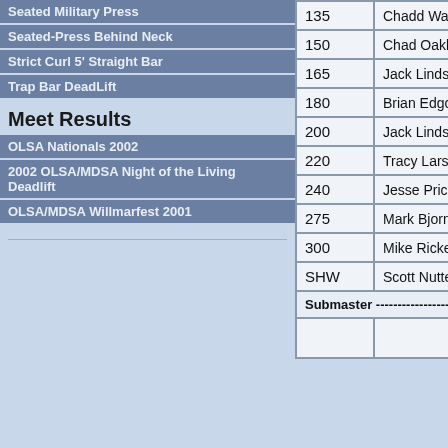Seated Military Press
Seated-Press Behind Neck
Strict Curl 5' Straight Bar
Trap Bar DeadLift
Meet Results
OLSA Nationals 2002
2002 OLSA/MDSA Night of the Living Deadlift
OLSA/MDSA Willmarfest 2001
| Weight | Name |
| --- | --- |
| 135 | Chadd Wahl-24 |
| 150 | Chad Oakleaf- |
| 165 | Jack Lindsley J |
| 180 | Brian Edgcomb |
| 200 | Jack Lindsley J |
| 220 | Tracy Larson-3 |
| 240 | Jesse Price-24 |
| 275 | Mark Bjornjeld- |
| 300 | Mike Ricker-37 |
| SHW | Scott Nutter-32 |
| Submaster | ---------------------------- |
|  |  |